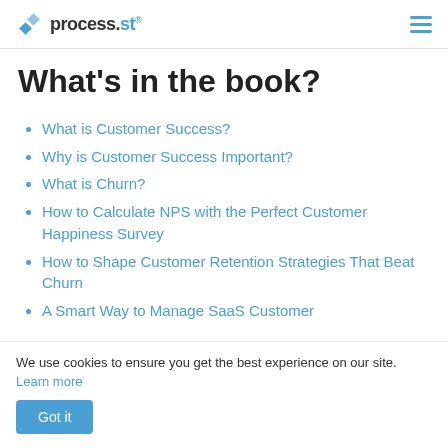process.st
What's in the book?
What is Customer Success?
Why is Customer Success Important?
What is Churn?
How to Calculate NPS with the Perfect Customer Happiness Survey
How to Shape Customer Retention Strategies That Beat Churn
A Smart Way to Manage SaaS Customer
We use cookies to ensure you get the best experience on our site. Learn more
Got it